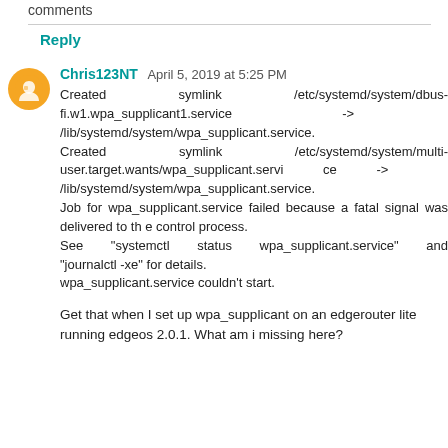comments
Reply
Chris123NT  April 5, 2019 at 5:25 PM
Created symlink /etc/systemd/system/dbus-fi.w1.wpa_supplicant1.service -> /lib/systemd/system/wpa_supplicant.service.
Created symlink /etc/systemd/system/multi-user.target.wants/wpa_supplicant.service -> /lib/systemd/system/wpa_supplicant.service.
Job for wpa_supplicant.service failed because a fatal signal was delivered to th e control process.
See "systemctl status wpa_supplicant.service" and "journalctl -xe" for details.
wpa_supplicant.service couldn't start.
Get that when I set up wpa_supplicant on an edgerouter lite running edgeos 2.0.1. What am i missing here?